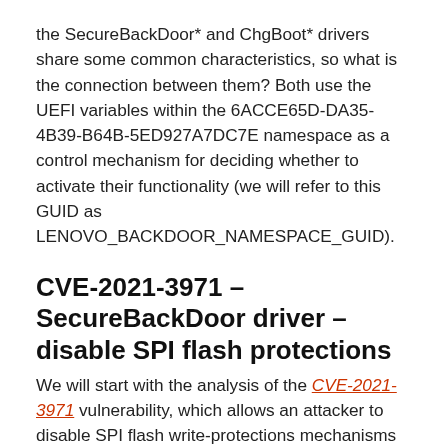the SecureBackDoor* and ChgBoot* drivers share some common characteristics, so what is the connection between them? Both use the UEFI variables within the 6ACCE65D-DA35-4B39-B64B-5ED927A7DC7E namespace as a control mechanism for deciding whether to activate their functionality (we will refer to this GUID as LENOVO_BACKDOOR_NAMESPACE_GUID).
CVE-2021-3971 – SecureBackDoor driver – disable SPI flash protections
We will start with the analysis of the CVE-2021-3971 vulnerability, which allows an attacker to disable SPI flash write-protections mechanisms by simply creating the NVRAM variable. When platform firmware detects this NVRAM variable during bootup, it skips execution of the code responsible for the setting up BIOS Control